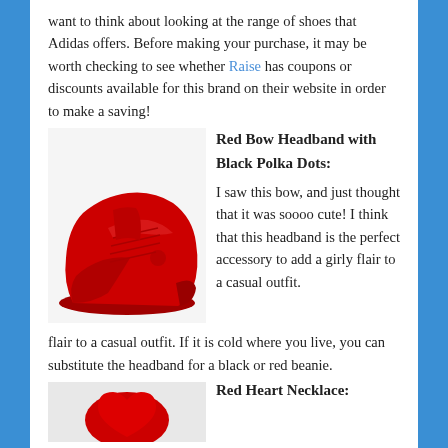want to think about looking at the range of shoes that Adidas offers. Before making your purchase, it may be worth checking to see whether Raise has coupons or discounts available for this brand on their website in order to make a saving!
[Figure (photo): Red Adidas sneaker shoe on white background]
Red Bow Headband with Black Polka Dots:
I saw this bow, and just thought that it was soooo cute! I think that this headband is the perfect accessory to add a girly flair to a casual outfit. If it is cold where you live, you can substitute the headband for a black or red beanie.
Red Heart Necklace:
[Figure (photo): Partial view of red heart necklace at bottom of page]